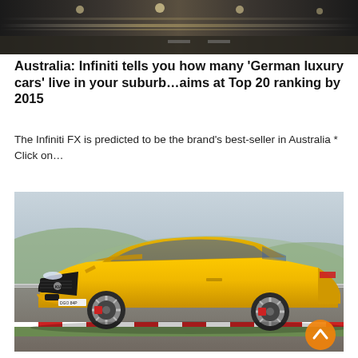[Figure (photo): Top partial image showing a blurred road/tunnel scene with motion blur, dark tones]
Australia: Infiniti tells you how many ‘German luxury cars’ live in your suburb…aims at Top 20 ranking by 2015
The Infiniti FX is predicted to be the brand's best-seller in Australia * Click on…
[Figure (photo): A bright yellow Kia Stinger sports sedan driving on a race track, photographed from the side-front angle. The car has a wide body, large alloy wheels with red brake calipers, and prominent front grille. New South Wales number plate visible.]